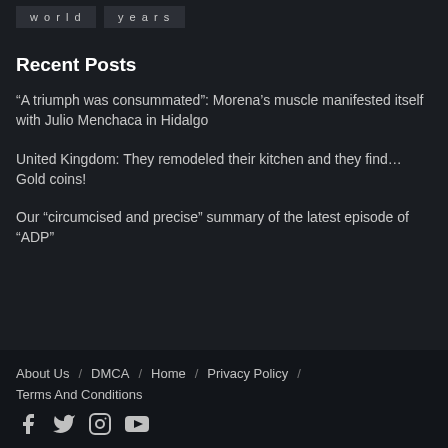world
years
Recent Posts
“A triumph was consummated”: Morena’s muscle manifested itself with Julio Menchaca in Hidalgo
United Kingdom: They remodeled their kitchen and they find… Gold coins!
Our “circumcised and precise” summary of the latest episode of “ADP”
About Us / DMCA / Home / Privacy Policy / Terms And Conditions